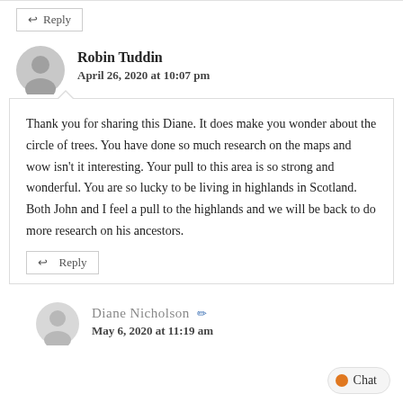Reply
Robin Tuddin
April 26, 2020 at 10:07 pm
Thank you for sharing this Diane. It does make you wonder about the circle of trees. You have done so much research on the maps and wow isn't it interesting. Your pull to this area is so strong and wonderful. You are so lucky to be living in highlands in Scotland. Both John and I feel a pull to the highlands and we will be back to do more research on his ancestors.
Reply
Diane Nicholson
May 6, 2020 at 11:19 am